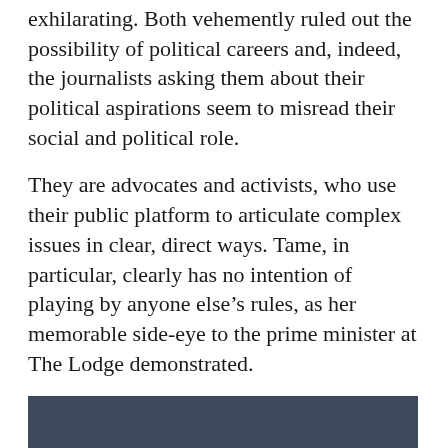exhilarating. Both vehemently ruled out the possibility of political careers and, indeed, the journalists asking them about their political aspirations seem to misread their social and political role.
They are advocates and activists, who use their public platform to articulate complex issues in clear, direct ways. Tame, in particular, clearly has no intention of playing by anyone else's rules, as her memorable side-eye to the prime minister at The Lodge demonstrated.
[Figure (photo): A dark blue-grey rectangular image block, likely a photograph with dark tones.]